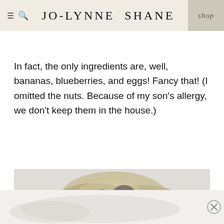JO-LYNNE SHANE | shop
In fact, the only ingredients are, well, bananas, blueberries, and eggs! Fancy that! (I omitted the nuts. Because of my son’s allergy, we don’t keep them in the house.)
[Figure (photo): Close-up photo of banana blueberry egg muffins on a white plate, showing the texture with visible blueberries baked into the muffin tops.]
[Figure (photo): Partially visible ad banner at the bottom of the page showing a light grey background with a close (X) button on the right side.]